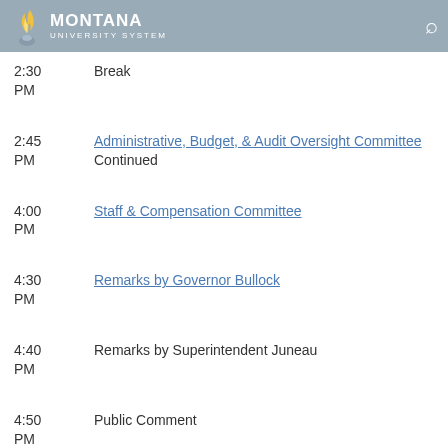Montana University System
2:30 PM   Break
2:45 PM   Administrative, Budget, & Audit Oversight Committee Continued
4:00 PM   Staff & Compensation Committee
4:30 PM   Remarks by Governor Bullock
4:40 PM   Remarks by Superintendent Juneau
4:50 PM   Public Comment